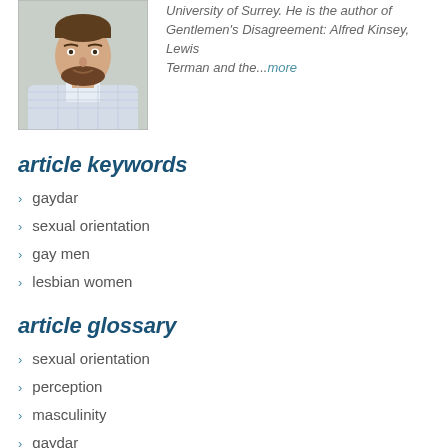[Figure (photo): Headshot photo of a man with a beard wearing a light checkered shirt, in front of a light-colored wall.]
University of Surrey. He is the author of Gentlemen's Disagreement: Alfred Kinsey, Lewis Terman and the...more
article keywords
gaydar
sexual orientation
gay men
lesbian women
article glossary
sexual orientation
perception
masculinity
gaydar
gender
default
sex
stereotypes
heteronormativity